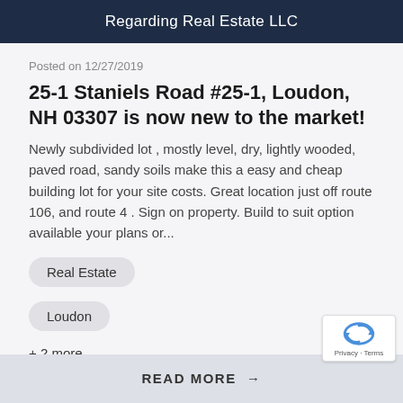Regarding Real Estate LLC
Posted on 12/27/2019
25-1 Staniels Road #25-1, Loudon, NH 03307 is now new to the market!
Newly subdivided lot , mostly level, dry, lightly wooded, paved road, sandy soils make this a easy and cheap building lot for your site costs. Great location just off route 106, and route 4 . Sign on property. Build to suit option available your plans or...
Real Estate
Loudon
+ 2 more
READ MORE →